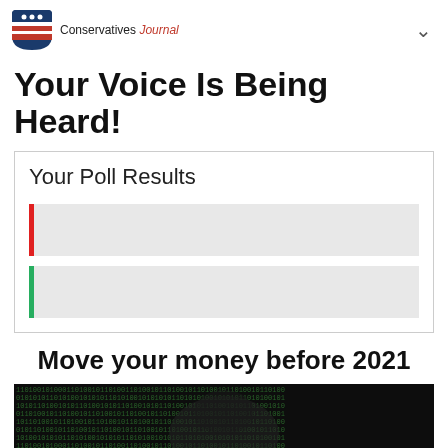Conservatives Journal
Your Voice Is Being Heard!
Your Poll Results
[Figure (infographic): Poll results display with two horizontal bar rows — first row with red left accent on gray background, second row with green left accent on gray background. Both bars are mostly empty/gray indicating near-zero results.]
Move your money before 2021
[Figure (photo): Photo of a face on currency overlaid with green binary code digits (0s and 1s), suggesting digital finance theme.]